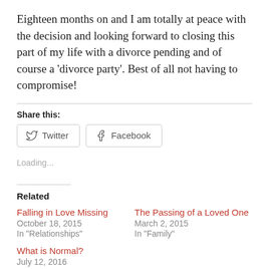Eighteen months on and I am totally at peace with the decision and looking forward to closing this part of my life with a divorce pending and of course a ‘divorce party’. Best of all not having to compromise!
Share this:
Loading...
Related
Falling in Love Missing
October 18, 2015
In "Relationships"
The Passing of a Loved One
March 2, 2015
In "Family"
What is Normal?
July 12, 2016